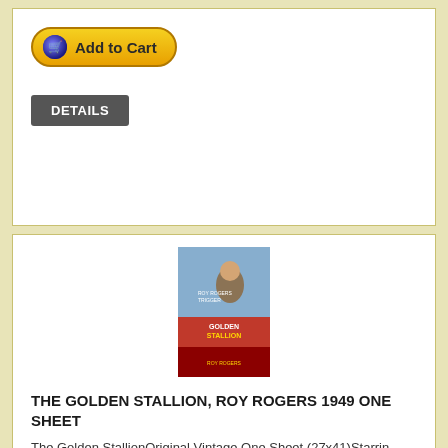[Figure (other): Add to Cart button with yellow gradient and cart icon]
[Figure (other): Dark gray DETAILS button]
[Figure (photo): Movie poster for The Golden Stallion featuring Roy Rogers 1949]
THE GOLDEN STALLION, ROY ROGERS 1949 ONE SHEET
The Golden StallionOriginal Vintage One Sheet (27x41)Starrin...
[Figure (other): SOLD OUT red button]
[Figure (other): DETAILS dark gray button]
[Figure (photo): Partial movie poster visible at bottom of page]